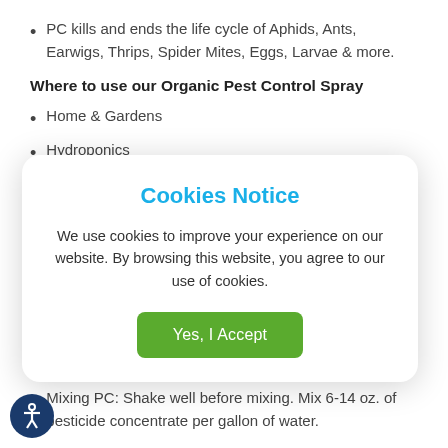PC kills and ends the life cycle of Aphids, Ants, Earwigs, Thrips, Spider Mites, Eggs, Larvae & more.
Where to use our Organic Pest Control Spray
Home & Gardens
Hydroponics
[Figure (screenshot): Cookies Notice modal dialog with title 'Cookies Notice' in blue, body text 'We use cookies to improve your experience on our website. By browsing this website, you agree to our use of cookies.', and a green 'Yes, I Accept' button.]
Mixing PC: Shake well before mixing. Mix 6-14 oz. of pesticide concentrate per gallon of water.